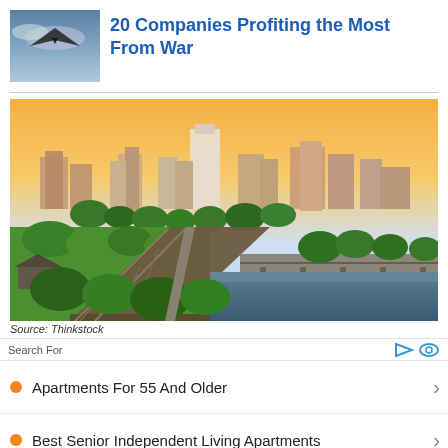[Figure (photo): Military aircraft flying over clouds]
20 Companies Profiting the Most From War
[Figure (photo): Aerial cityscape at sunset showing urban skyline, green parks, a railway bridge over a river. Source: Thinkstock]
Source: Thinkstock
Search For
Apartments For 55 And Older
Best Senior Independent Living Apartments